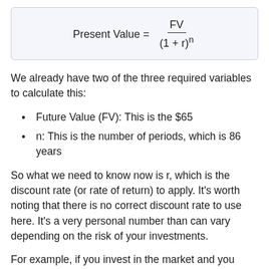We already have two of the three required variables to calculate this:
Future Value (FV): This is the $65
n: This is the number of periods, which is 86 years
So what we need to know now is r, which is the discount rate (or rate of return) to apply. It's worth noting that there is no correct discount rate to use here. It's a very personal number than can vary depending on the risk of your investments.
For example, if you invest in the market and you